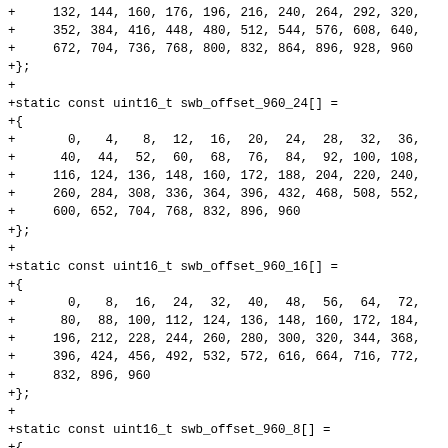+     132, 144, 160, 176, 196, 216, 240, 264, 292, 320,
+     352, 384, 416, 448, 480, 512, 544, 576, 608, 640,
+     672, 704, 736, 768, 800, 832, 864, 896, 928, 960
+};
+
+static const uint16_t swb_offset_960_24[] =
+{
+       0,   4,   8,  12,  16,  20,  24,  28,  32,  36,
+      40,  44,  52,  60,  68,  76,  84,  92, 100, 108,
+     116, 124, 136, 148, 160, 172, 188, 204, 220, 240,
+     260, 284, 308, 336, 364, 396, 432, 468, 508, 552,
+     600, 652, 704, 768, 832, 896, 960
+};
+
+static const uint16_t swb_offset_960_16[] =
+{
+       0,   8,  16,  24,  32,  40,  48,  56,  64,  72,
+      80,  88, 100, 112, 124, 136, 148, 160, 172, 184,
+     196, 212, 228, 244, 260, 280, 300, 320, 344, 368,
+     396, 424, 456, 492, 532, 572, 616, 664, 716, 772,
+     832, 896, 960
+};
+
+static const uint16_t swb_offset_960_8[] =
+{
+       0,  12,  24,  36,  48,  60,  72,  84,  96, 108,
+     120, 132, 144, 156, 172, 188, 204, 220, 236, 252,
+     268, 288, 308, 328, 348, 372, 396, 420, 448, 476,
+     508, 544, 580, 620, 664, 712, 764, 820, 880, 944,
+     960